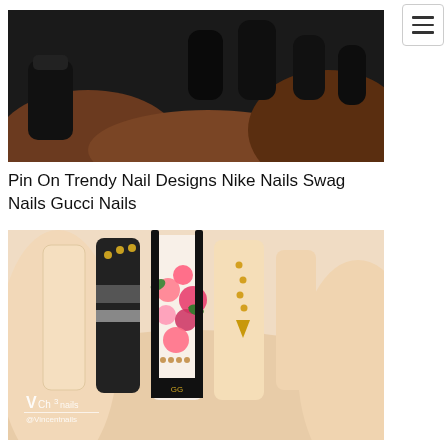[Figure (photo): Close-up photo of dark hands holding matte black nail polish bottle, showing black painted nails]
Pin On Trendy Nail Designs Nike Nails Swag Nails Gucci Nails
[Figure (photo): Close-up photo of manicured nails featuring Gucci-inspired design with floral patterns, black stripes, gold embellishments, and nude/beige nails. Watermark shows VCh3nails @Vincentnails logo.]